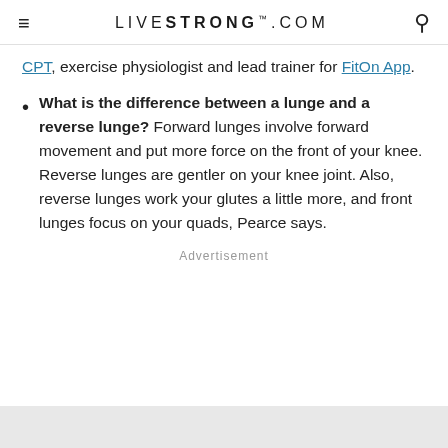LIVESTRONG.COM
CPT, exercise physiologist and lead trainer for Fiton App.
What is the difference between a lunge and a reverse lunge? Forward lunges involve forward movement and put more force on the front of your knee. Reverse lunges are gentler on your knee joint. Also, reverse lunges work your glutes a little more, and front lunges focus on your quads, Pearce says.
Advertisement